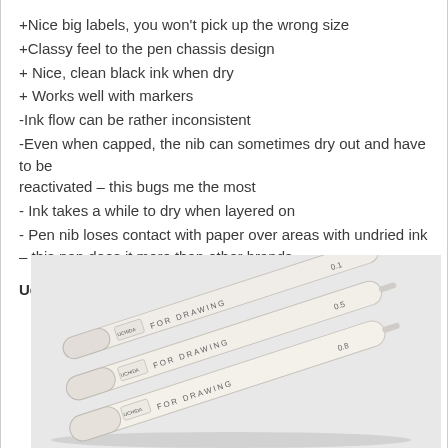+Nice big labels, you won't pick up the wrong size
+Classy feel to the pen chassis design
+ Nice, clean black ink when dry
+ Works well with markers
-Ink flow can be rather inconsistent
-Even when capped, the nib can sometimes dry out and have to be reactivated – this bugs me the most
- Ink takes a while to dry when layered on
- Pen nib loses contact with paper over areas with undried ink – this pen does it more than other brands
Uchida Marvy
[Figure (photo): Three white Uchida Marvy 'For Drawing' technical pens arranged diagonally, showing sizes 0.1, 0.5, and 0.8, photographed against a white background with shadows visible.]